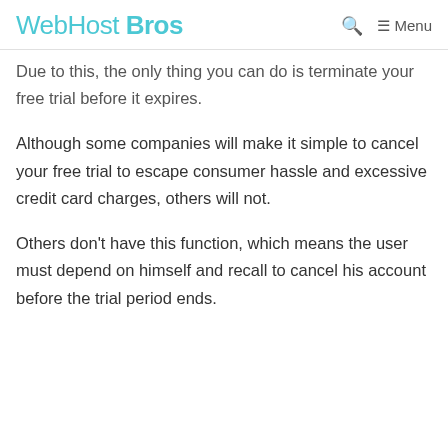WebHost Bros — Menu
Due to this, the only thing you can do is terminate your free trial before it expires.
Although some companies will make it simple to cancel your free trial to escape consumer hassle and excessive credit card charges, others will not.
Others don't have this function, which means the user must depend on himself and recall to cancel his account before the trial period ends.